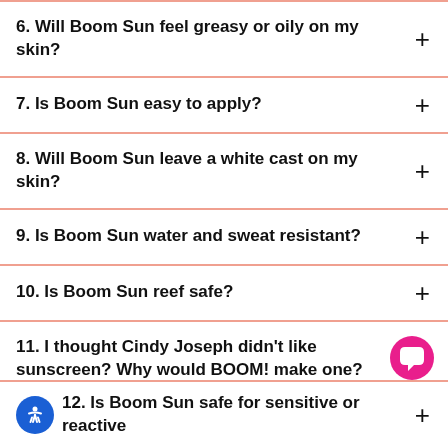6. Will Boom Sun feel greasy or oily on my skin?
7. Is Boom Sun easy to apply?
8. Will Boom Sun leave a white cast on my skin?
9. Is Boom Sun water and sweat resistant?
10. Is Boom Sun reef safe?
11. I thought Cindy Joseph didn’t like sunscreen? Why would BOOM! make one?
12. Is Boom Sun safe for sensitive or reactive